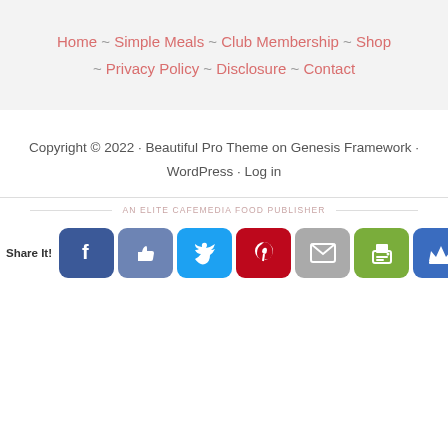Home ~ Simple Meals ~ Club Membership ~ Shop ~ Privacy Policy ~ Disclosure ~ Contact
Copyright © 2022 · Beautiful Pro Theme on Genesis Framework · WordPress · Log in
AN ELITE CAFEMEDIA FOOD PUBLISHER
Share It!